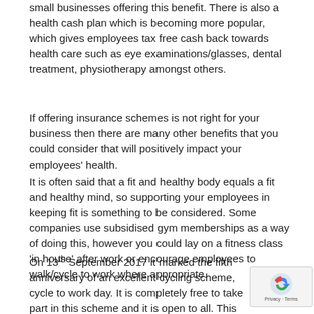small businesses offering this benefit.  There is also a health cash plan which is becoming more popular, which gives employees tax free cash back towards health care such as eye examinations/glasses, dental treatment, physiotherapy amongst others.
If offering insurance schemes is not right for your business then there are many other benefits that you could consider that will positively impact your employees' health.
It is often said that a fit and healthy body equals a fit and healthy mind, so supporting your employees in keeping fit is something to be considered.  Some companies use subsidised gym memberships as a way of doing this, however you could lay on a fitness class 'in house' after work or encourage employees to walk/cycle to work where appropriate.
On 13th September 2017 it marked the fifth anniversary of an excellent cycling scheme, cycle to work day.  It is completely free to take part in this scheme and it is open to all.  This is run by Cyclescheme, whose research has shown that for those interviewed, almost half of those who cycle to